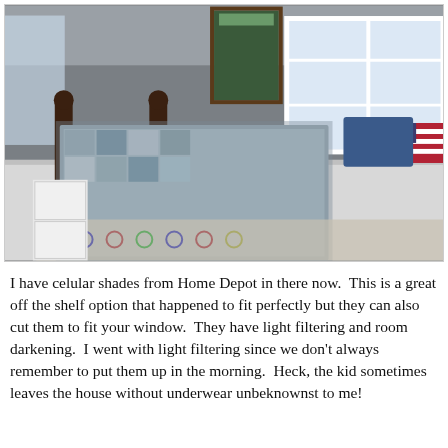[Figure (photo): Interior bedroom photo showing a boy's room with gray walls, white wainscoting, a dark wood bed with a plaid quilt, an American flag pillow, a bedside lamp, a nightstand, a leather chair with a checkered pillow, a colorful patterned rug, framed art on the walls, and a large window. Watermark reads 'HOUSEography' in bottom right corner.]
I have celular shades from Home Depot in there now.  This is a great off the shelf option that happened to fit perfectly but they can also cut them to fit your window.  They have light filtering and room darkening.  I went with light filtering since we don't always remember to put them up in the morning.  Heck, the kid sometimes leaves the house without underwear unbeknownst to me!